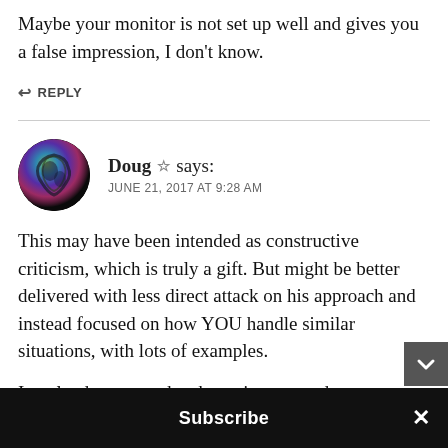Maybe your monitor is not set up well and gives you a false impression, I don't know.
↩ REPLY
[Figure (photo): Circular avatar for user Doug showing a dark holographic/iridescent swirl design on black background]
Doug ☆ says:
JUNE 21, 2017 AT 9:28 AM
This may have been intended as constructive criticism, which is truly a gift. But might be better delivered with less direct attack on his approach and instead focused on how YOU handle similar situations, with lots of examples.
I applaud anyone who shares images and
Subscribe